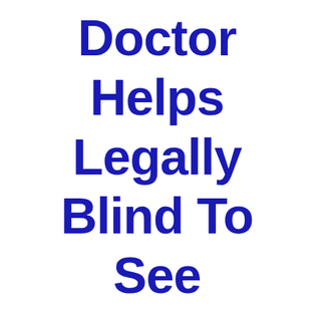Doctor Helps Legally Blind To See